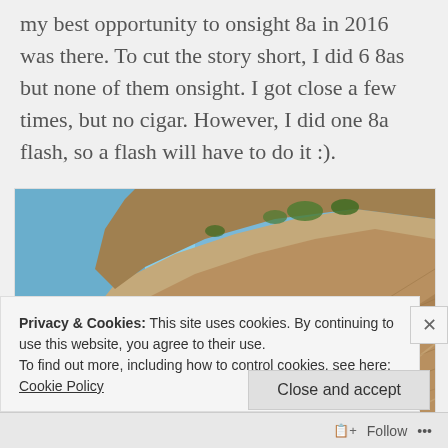my best opportunity to onsight 8a in 2016 was there. To cut the story short, I did 6 8as but none of them onsight. I got close a few times, but no cigar. However, I did one 8a flash, so a flash will have to do it :).
[Figure (photo): Photo of a tall limestone rock climbing wall with overhanging features, photographed from below against a blue sky.]
Privacy & Cookies: This site uses cookies. By continuing to use this website, you agree to their use.
To find out more, including how to control cookies, see here: Cookie Policy
Close and accept
Follow ...